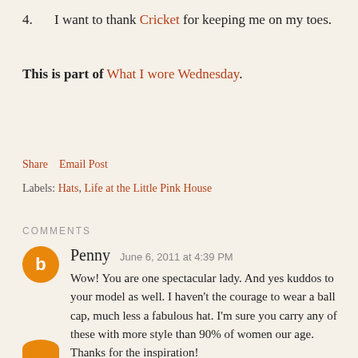4.  I want to thank Cricket for keeping me on my toes.
This is part of What I wore Wednesday.
Share    Email Post
Labels: Hats, Life at the Little Pink House
COMMENTS
Penny  June 6, 2011 at 4:39 PM
Wow! You are one spectacular lady. And yes kuddos to your model as well. I haven't the courage to wear a ball cap, much less a fabulous hat. I'm sure you carry any of these with more style than 90% of women our age. Thanks for the inspiration!
REPLY